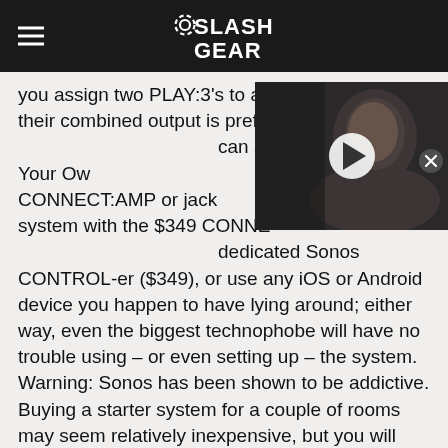SlashGear
you assign two PLAY:3's to act as a stereo pair, their combined output is preferable can also BYOS (Bring Your Ow $499 CONNECT:AMP or jack system with the $349 CONNE dedicated Sonos CONTROL-er ($349), or use any iOS or Android device you happen to have lying around; either way, even the biggest technophobe will have no trouble using – or even setting up – the system. Warning: Sonos has been shown to be addictive. Buying a starter system for a couple of rooms may seem relatively inexpensive, but you will soon find that you "need" to add rooms to the system.
[Figure (photo): Video thumbnail showing a man (Elon Musk) with a play button overlay, dark background]